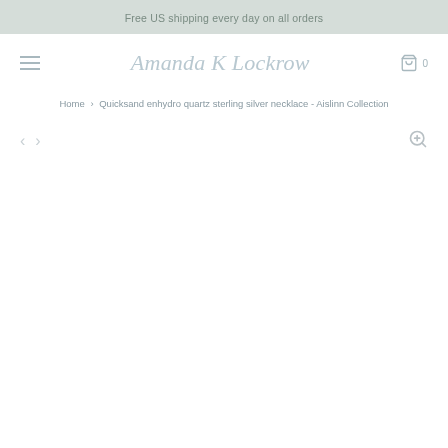Free US shipping every day on all orders
Amanda K Lockrow
Home › Quicksand enhydro quartz sterling silver necklace - Aislinn Collection
[Figure (screenshot): Product image viewer area with navigation arrows (left, right) and zoom button; product image area is blank/white]